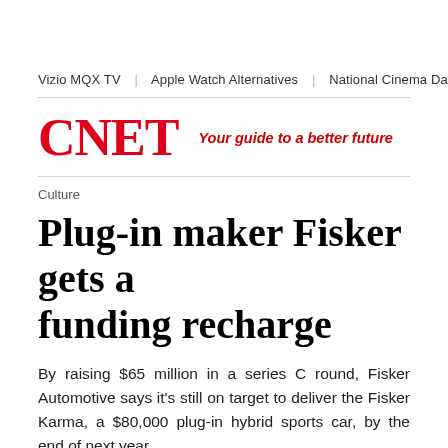Vizio MQX TV | Apple Watch Alternatives | National Cinema Day | Be…
CNET Your guide to a better future
Culture
Plug-in maker Fisker gets a funding recharge
By raising $65 million in a series C round, Fisker Automotive says it's still on target to deliver the Fisker Karma, a $80,000 plug-in hybrid sports car, by the end of next year.